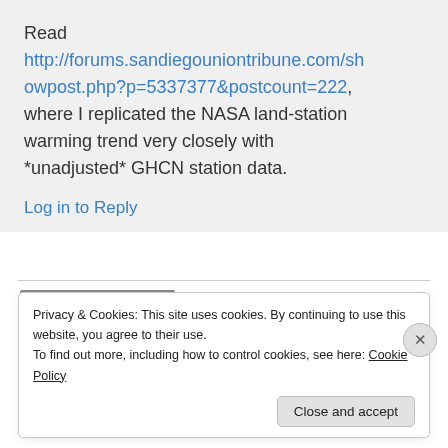Read http://forums.sandiegouniontribune.com/showpost.php?p=5337377&postcount=222, where I replicated the NASA land-station warming trend very closely with *unadjusted* GHCN station data.
Log in to Reply
Privacy & Cookies: This site uses cookies. By continuing to use this website, you agree to their use.
To find out more, including how to control cookies, see here: Cookie Policy